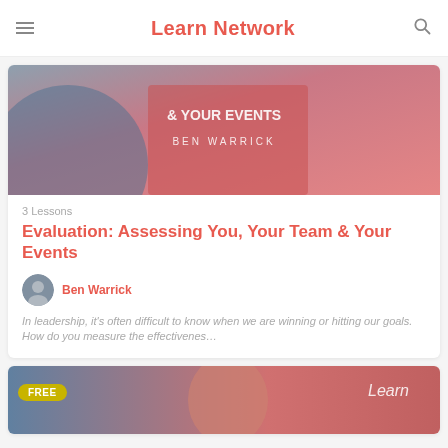Learn Network
[Figure (photo): Course thumbnail image for Evaluation: Assessing You, Your Team & Your Events by Ben Warrick — reddish-pink gradient background with text overlay]
3 Lessons
Evaluation: Assessing You, Your Team & Your Events
Ben Warrick
In leadership, it's often difficult to know when we are winning or hitting our goals.  How do you measure the effectivenes…
[Figure (photo): Second course card thumbnail — person's face visible, Learn Network logo in upper right, FREE badge in yellow-green on the left]